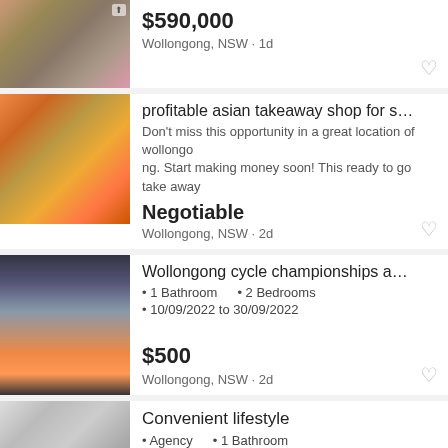[Figure (photo): Aerial view of suburban area]
$590,000
Wollongong, NSW · 1d
[Figure (photo): Asian takeaway food display]
profitable asian takeaway shop for sale i...
Don't miss this opportunity in a great location of wollongong. Start making money soon! This ready to go take away
Negotiable
Wollongong, NSW · 2d
[Figure (photo): Sunset over water]
Wollongong cycle championships accom...
• 1 Bathroom
• 2 Bedrooms
• 10/09/2022 to 30/09/2022
$500
Wollongong, NSW · 2d
[Figure (photo): Bathroom interior]
Convenient lifestyle
• Agency
• 1 Bathroom
• 2 Bedrooms
$440
Wollongong, NSW · 3d
[Figure (photo): Partial listing image]
Looking for a 2 or 3 bedroom private rental